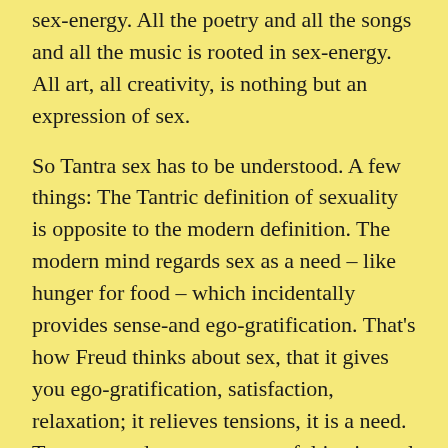sex-energy. All the poetry and all the songs and all the music is rooted in sex-energy. All art, all creativity, is nothing but an expression of sex.
So Tantra sex has to be understood. A few things: The Tantric definition of sexuality is opposite to the modern definition. The modern mind regards sex as a need – like hunger for food – which incidentally provides sense-and ego-gratification. That's how Freud thinks about sex, that it gives you ego-gratification, satisfaction, relaxation; it relieves tensions, it is a need. Tantra regards sex as a powerful instinctual return to our ultimate reality, one of the highest forms of meditation.
There you have to understand – the first thing